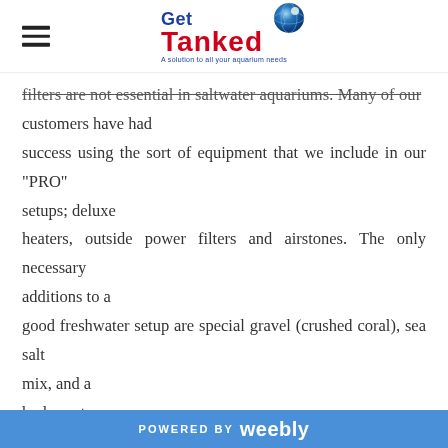Get Tanked — A solution to all your aquarium needs
filters are not essential in saltwater aquariums. Many of our customers have had success using the sort of equipment that we include in our "PRO" setups; deluxe heaters, outside power filters and airstones. The only necessary additions to a good freshwater setup are special gravel (crushed coral), sea salt mix, and a hydrometer.
Are saltwater fish hard to keep?
Just as in freshwater, there are some species that are usually
POWERED BY weebly